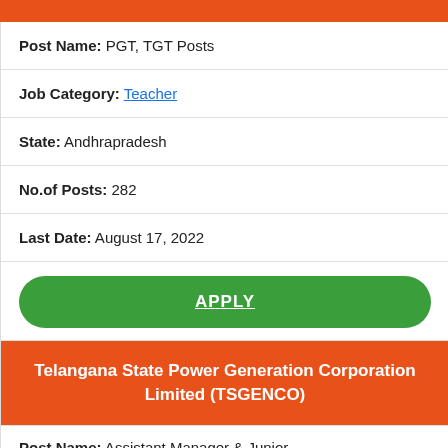Post Name: PGT, TGT Posts
Job Category: Teacher
State: Andhrapradesh
No.of Posts: 282
Last Date: August 17, 2022
APPLY
Telangana State Power Generation Corporation Limited (TSGENCO)
Post Name: Assistant Manager & Junior